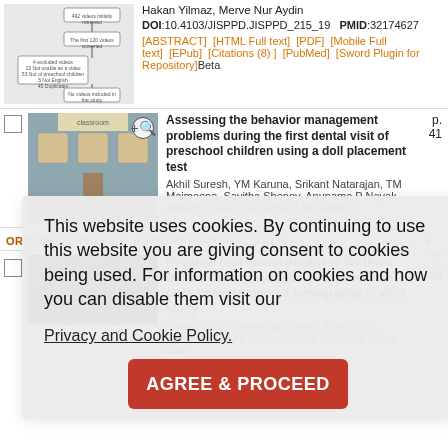Hakan Yilmaz, Merve Nur Aydin
DOI:10.4103/JISPPD.JISPPD_215_19  PMID:32174627
[ABSTRACT]  [HTML Full text]  [PDF]  [Mobile Full text]  [EPub]  [Citations (8)]  [PubMed]  [Sword Plugin for Repository]Beta
Assessing the behavior management problems during the first dental visit of preschool children using a doll placement test
Akhil Suresh, YM Karuna, Srikant Natarajan, TM Maimoona, Savitha Shenoy, Anupama P Nayak, Ashwin P Rao, Suprabha B Shrikrishna
p. 41
This website uses cookies. By continuing to use this website you are giving consent to cookies being used. For information on cookies and how you can disable them visit our Privacy and Cookie Policy.
ORIGINAL ARTICLES - LABORATORY RESEARCH
Residual root dentin thickness for three different rotary systems: A comparative cone beam computed tomography in vitro study
Matam Glore Suneetha, Ahmed Abdul Moiz, Hateem Sharief, Kalyani Yedla, Muhashir Mirza Baig
p. 48